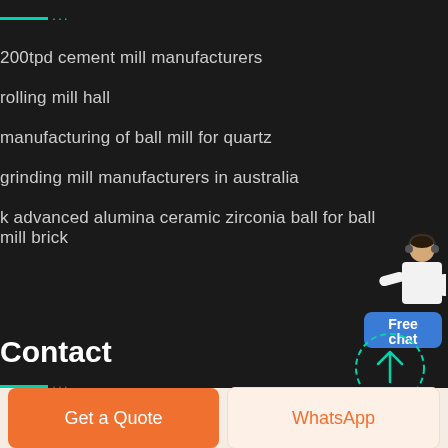200tpd cement mill manufacturers
rolling mill hall
manufacturing of ball mill for quartz
grinding mill manufacturers in australia
k advanced alumina ceramic zirconia ball for ball mill brick
[Figure (illustration): Free chat widget with a person in white outfit and a blue button labeled Free chat]
Contact
grinding mill manufacturers in pakistan
[Figure (illustration): Dashed circle with upward arrow icon (scroll to top button)]